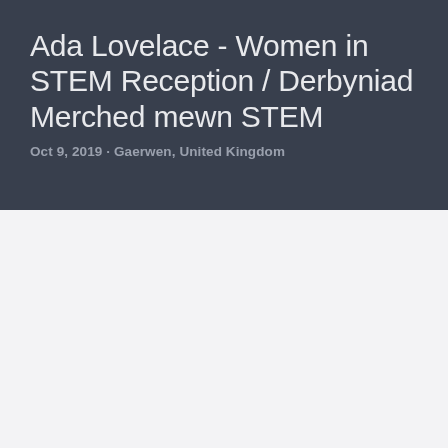Ada Lovelace - Women in STEM Reception / Derbyniad Merched mewn STEM
Oct 9, 2019 · Gaerwen, United Kingdom